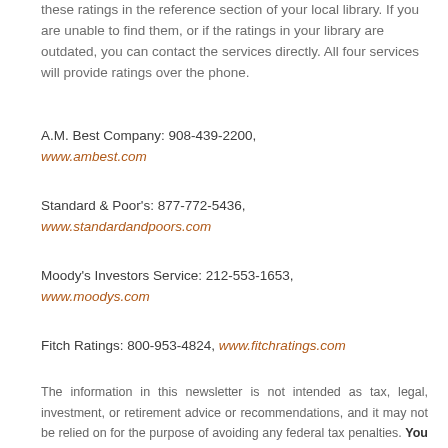these ratings in the reference section of your local library. If you are unable to find them, or if the ratings in your library are outdated, you can contact the services directly. All four services will provide ratings over the phone.
A.M. Best Company: 908-439-2200, www.ambest.com
Standard & Poor's: 877-772-5436, www.standardandpoors.com
Moody's Investors Service: 212-553-1653, www.moodys.com
Fitch Ratings: 800-953-4824, www.fitchratings.com
The information in this newsletter is not intended as tax, legal, investment, or retirement advice or recommendations, and it may not be relied on for the purpose of avoiding any federal tax penalties. You are encouraged to seek guidance from an independent tax or legal